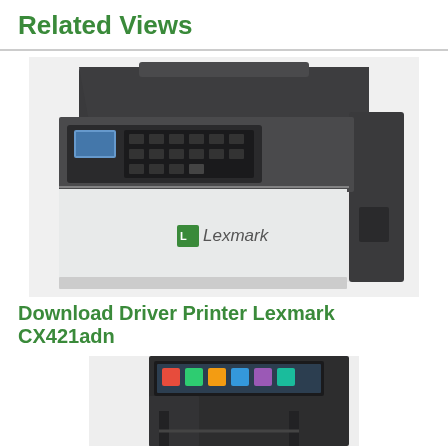Related Views
[Figure (photo): Lexmark CX421adn multifunction color printer, front-angle view showing control panel with small display, keypad, document feeder on top, white lower body with Lexmark logo, dark gray upper section]
Download Driver Printer Lexmark CX421adn
[Figure (photo): Lexmark printer partial view showing control panel with touchscreen and dark body, cropped at bottom of page]